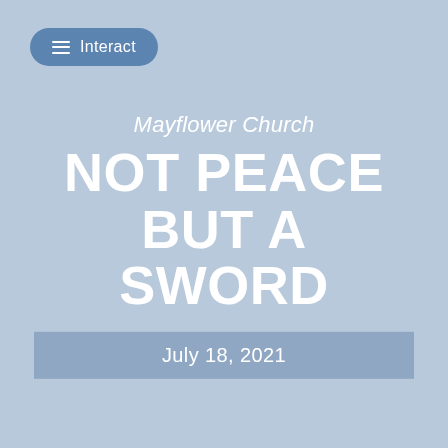Interact
Mayflower Church
NOT PEACE BUT A SWORD
July 18, 2021